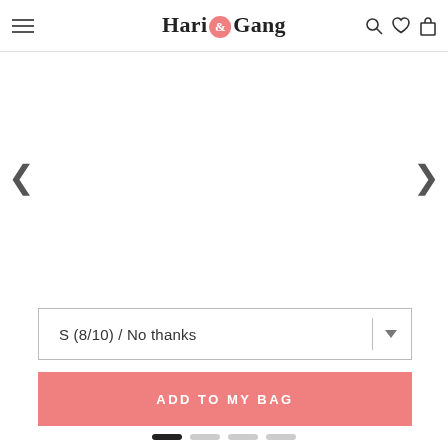Hari & Gang — navigation bar with hamburger menu, logo, search, wishlist, and bag icons
[Figure (screenshot): Product image carousel area with left and right navigation arrows on white background]
S (8/10) / No thanks
ADD TO MY BAG
Carousel indicator dots: 4 dots, first active (dark), three inactive (grey)